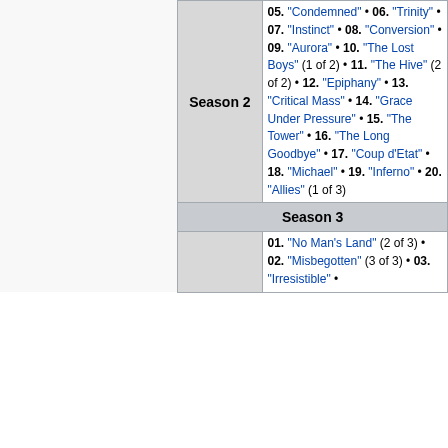|  | Season | Episodes |
| --- | --- | --- |
|  | Season 2 | 05. "Condemned" • 06. "Trinity" • 07. "Instinct" • 08. "Conversion" • 09. "Aurora" • 10. "The Lost Boys" (1 of 2) • 11. "The Hive" (2 of 2) • 12. "Epiphany" • 13. "Critical Mass" • 14. "Grace Under Pressure" • 15. "The Tower" • 16. "The Long Goodbye" • 17. "Coup d'Etat" • 18. "Michael" • 19. "Inferno" • 20. "Allies" (1 of 3) |
| Season 3 |  | 01. "No Man's Land" (2 of 3) • 02. "Misbegotten" (3 of 3) • 03. "Irresistible" • |